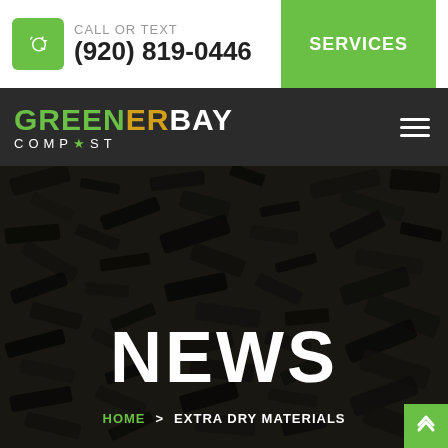[Figure (logo): Phone icon in green rounded square box]
CALL OR TEXT
(920) 819-0446
SERVICES
[Figure (logo): Greener Bay Compost logo — white and green text on dark background with hamburger menu icon]
[Figure (photo): Dark compost/mulch material background image]
NEWS
HOME > EXTRA DRY MATERIALS